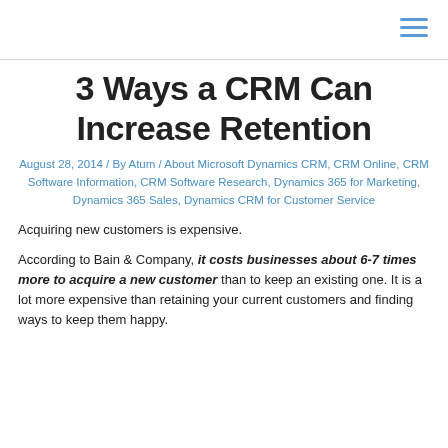3 Ways a CRM Can Increase Retention
August 28, 2014 / By Atum / About Microsoft Dynamics CRM, CRM Online, CRM Software Information, CRM Software Research, Dynamics 365 for Marketing, Dynamics 365 Sales, Dynamics CRM for Customer Service
Acquiring new customers is expensive.
According to Bain & Company, it costs businesses about 6-7 times more to acquire a new customer than to keep an existing one. It is a lot more expensive than retaining your current customers and finding ways to keep them happy.